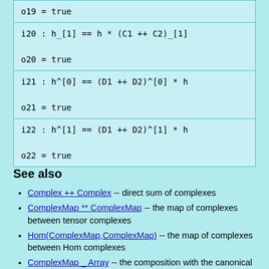| o19 = true |
| i20 : h_[1] == h * (C1 ++ C2)_[1]

o20 = true |
| i21 : h^[0] == (D1 ++ D2)^[0] * h

o21 = true |
| i22 : h^[1] == (D1 ++ D2)^[1] * h

o22 = true |
See also
Complex ++ Complex -- direct sum of complexes
ComplexMap ** ComplexMap -- the map of complexes between tensor complexes
Hom(ComplexMap,ComplexMap) -- the map of complexes between Hom complexes
ComplexMap _ Array -- the composition with the canonical inclusion or projection map